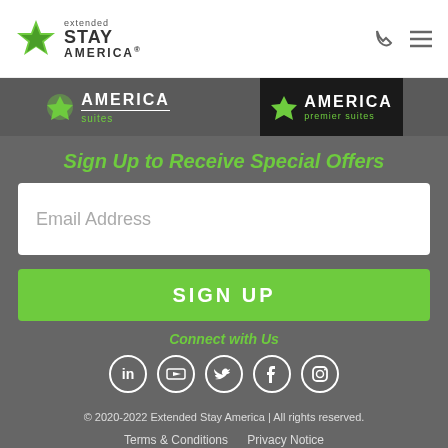[Figure (logo): Extended Stay America logo with green star icon]
[Figure (illustration): Navigation icons: phone and hamburger menu]
[Figure (illustration): Two hotel brand banners: WoodSpring Suites and WoodSpring Premier Suites on gray background]
Sign Up to Receive Special Offers
[Figure (screenshot): Email Address input field (white box)]
[Figure (illustration): SIGN UP green button]
Connect with Us
[Figure (illustration): Social media icons: LinkedIn, YouTube, Twitter, Facebook, Instagram]
© 2020-2022 Extended Stay America | All rights reserved.
Terms & Conditions    Privacy Notice